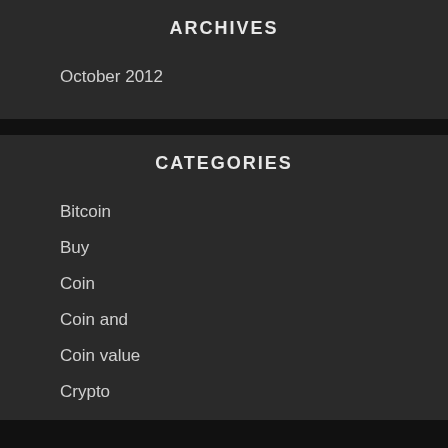ARCHIVES
October 2012
CATEGORIES
Bitcoin
Buy
Coin
Coin and
Coin value
Crypto